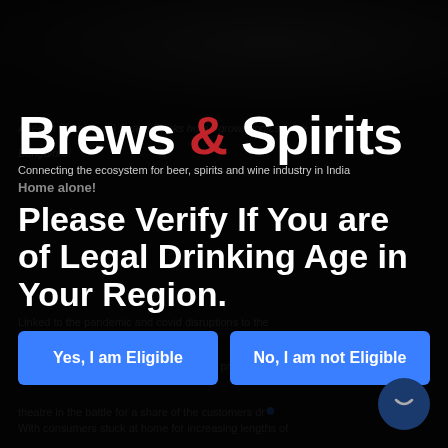[Figure (photo): Dark background photo of people/bottles at top of page, partially visible]
Aneesh Bhasin's (L) Svami Drinks home-grown tonics have
[Figure (logo): Brews & Spirits logo with red ampersand on dark background]
Connecting the ecosystem for beer, spirits and wine industry in India
Home alone!
Please Verify If You are of Legal Drinking Age in Your Region.
Yes, I am Eligible
No, I am not Eligible